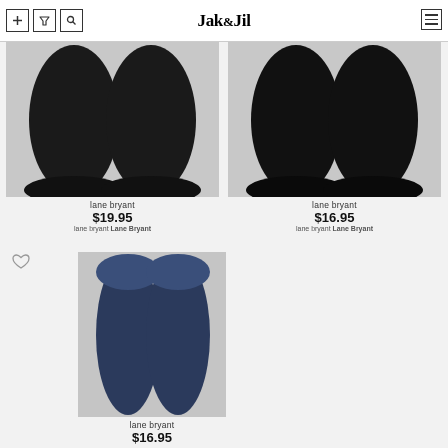Jak & Jil — navigation header with filter, sort, search icons and hamburger menu
[Figure (photo): Black ribbed tights/hosiery on legs, light grey background — Lane Bryant product]
lane bryant
$19.95
lane bryant Lane Bryant
[Figure (photo): Black opaque tights on legs, light grey background — Lane Bryant product]
lane bryant
$16.95
lane bryant Lane Bryant
[Figure (photo): Navy blue knee-high socks on legs, light grey background — Lane Bryant product]
lane bryant
$16.95